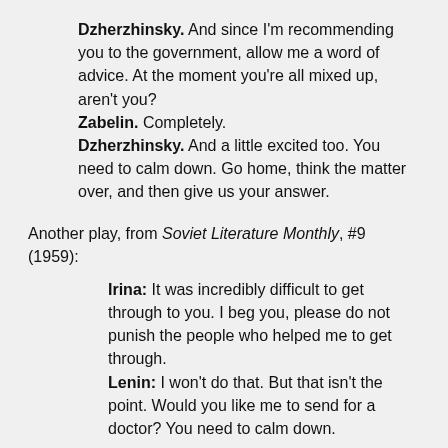Dzherzhinsky. And since I'm recommending you to the government, allow me a word of advice. At the moment you're all mixed up, aren't you?
Zabelin. Completely.
Dzherzhinsky. And a little excited too. You need to calm down. Go home, think the matter over, and then give us your answer.
Another play, from Soviet Literature Monthly, #9 (1959):
Irina: It was incredibly difficult to get through to you. I beg you, please do not punish the people who helped me to get through.
Lenin: I won't do that. But that isn't the point. Would you like me to send for a doctor? You need to calm down.